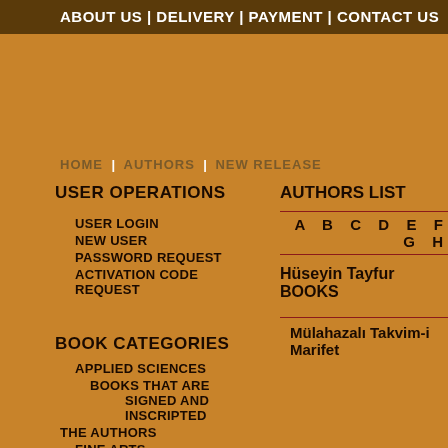ABOUT US | DELIVERY | PAYMENT | CONTACT US
HOME | AUTHORS | NEW RELEASE
USER OPERATIONS
USER LOGIN
NEW USER
PASSWORD REQUEST
ACTIVATION CODE REQUEST
AUTHORS LIST
A B C D E F G H
Hüseyin Tayfur BOOKS
Mülahazalı Takvim-i Marifet
BOOK CATEGORIES
APPLIED SCIENCES
BOOKS THAT ARE SIGNED AND INSCRIPTED
THE AUTHORS
FINE ARTS
GENERAL CATEGORIES
HISTORY
LINGUISTICS
LITERATURE